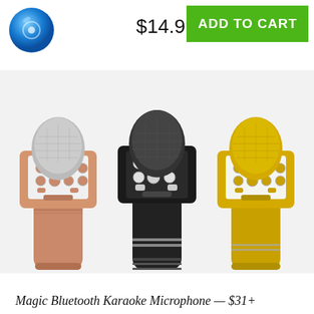[Figure (photo): Blue Bluetooth speaker icon in top left corner of the page header]
$14.99
ADD TO CART
[Figure (photo): Three karaoke microphones side by side: rose gold (left), black (center), gold (right), each with visible control buttons on the body]
Magic Bluetooth Karaoke Microphone — $31+